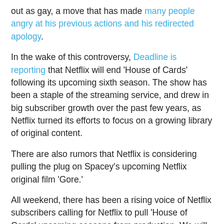out as gay, a move that has made many people angry at his previous actions and his redirected apology.
In the wake of this controversy, Deadline is reporting that Netflix will end 'House of Cards' following its upcoming sixth season. The show has been a staple of the streaming service, and drew in big subscriber growth over the past few years, as Netflix turned its efforts to focus on a growing library of original content.
There are also rumors that Netflix is considering pulling the plug on Spacey's upcoming Netflix original film 'Gore.'
All weekend, there has been a rising voice of Netflix subscribers calling for Netflix to pull 'House of Cards' upcoming seasons from production. We will be monitoring closely when the sixth season releases in 2018 to see if the protests create any sort of damage to the series. It seems likely that this might be the case.
House of Cards' Robin Wright